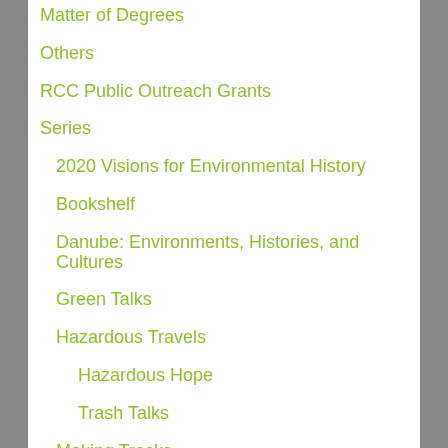Matter of Degrees
Others
RCC Public Outreach Grants
Series
2020 Visions for Environmental History
Bookshelf
Danube: Environments, Histories, and Cultures
Green Talks
Hazardous Travels
Hazardous Hope
Trash Talks
Making Tracks